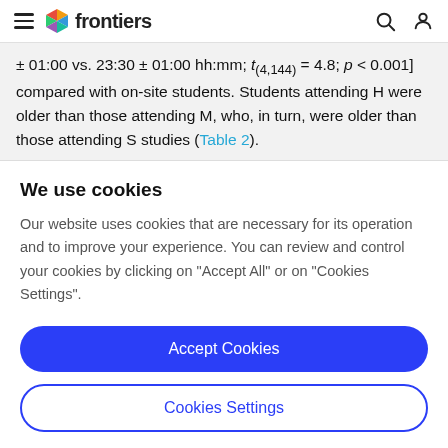frontiers (navigation bar)
± 01:00 vs. 23:30 ± 01:00 hh:mm; t(4,144) = 4.8; p < 0.001] compared with on-site students. Students attending H were older than those attending M, who, in turn, were older than those attending S studies (Table 2).
We use cookies
Our website uses cookies that are necessary for its operation and to improve your experience. You can review and control your cookies by clicking on "Accept All" or on "Cookies Settings".
Accept Cookies
Cookies Settings